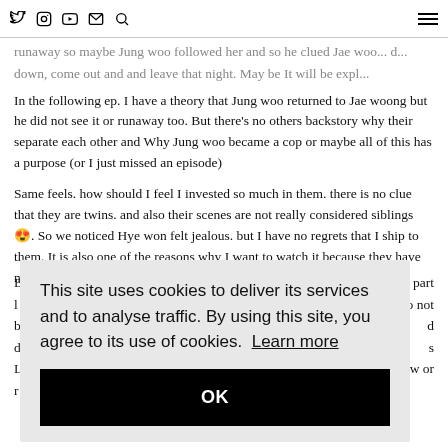Navigation bar with social icons (Twitter, Instagram, YouTube, Email, Search) and hamburger menu
runaway so maybe Jung woo followed her and so he clued Jae woos... down, come out and and leave that night. May be It will be expl...
In the following ep. I have a theory that Jung woo returned to Jae woong but he did not see it or runaway too. But there’s no others backstory why their separate each other and Why Jung woo became a cop or maybe all of this has a purpose (or I just missed an episode)
Same feels. how should I feel I invested so much in them. there is no clue that they are twins. and also their scenes are not really considered siblings 😍. So we noticed Hye won felt jealous. but I have no regrets that I ship to them. It is also one of the reasons why I want to watch it because they have natural and amazing chemistry. waiting for their another drama together.
B... l... b... d... L... r...  part  lo not  d  s  w or
[Figure (screenshot): Cookie consent dialog overlay with light gray background. Text reads: 'This site uses cookies to deliver its services and to analyse traffic. By using this site, you agree to its use of cookies. Learn more' with a black OK button.]